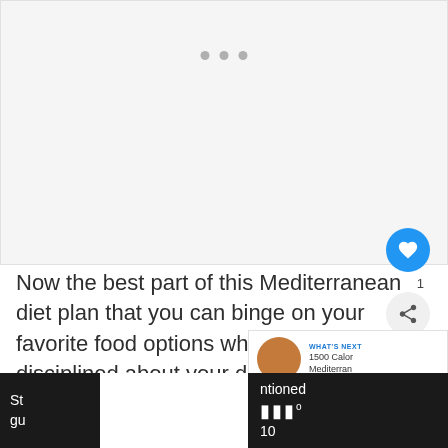[Figure (other): Blank light-gray placeholder area with three gray dots indicating a loading or slideshow indicator]
Now the best part of this Mediterranean diet plan that you can binge on your favorite food options while staying disciplined about your daily calorie intake.
[Figure (other): WHAT'S NEXT card with thumbnail image and text: 1500 Calorie Mediterranean]
St qu
ntioned 10